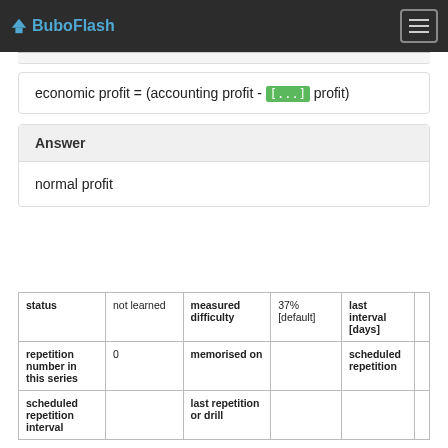BuboFlash
economic profit = (accounting profit - [...] profit)
Answer
normal profit
| status | not learned | measured difficulty | 37% [default] | last interval [days] |  |
| repetition number in this series | 0 | memorised on |  | scheduled repetition |  |
| scheduled repetition interval |  | last repetition or drill |  |  |  |